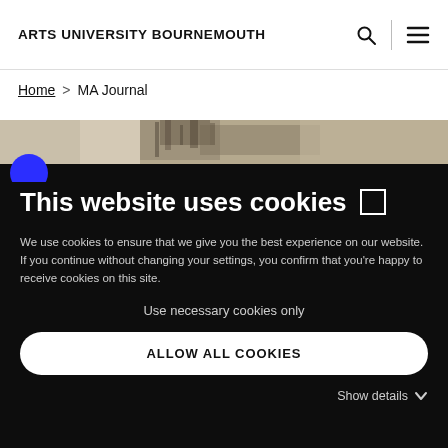ARTS UNIVERSITY BOURNEMOUTH
Home > MA Journal
[Figure (photo): Partial view of an artwork or image, sepia/grey toned, with a blue circle partially visible on the left side]
This website uses cookies 🍪
We use cookies to ensure that we give you the best experience on our website. If you continue without changing your settings, you confirm that you're happy to receive cookies on this site.
Use necessary cookies only
ALLOW ALL COOKIES
Show details